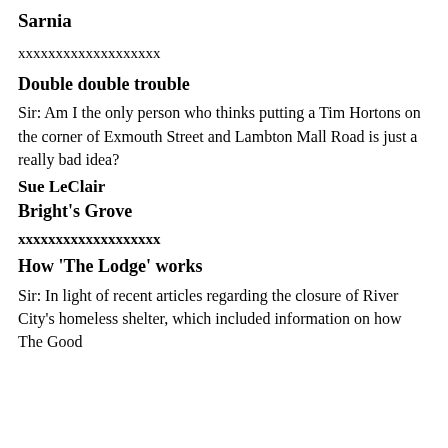Sarnia
xxxxxxxxxxxxxxxxxxx
Double double trouble
Sir: Am I the only person who thinks putting a Tim Hortons on the corner of Exmouth Street and Lambton Mall Road is just a really bad idea?
Sue LeClair
Bright’s Grove
xxxxxxxxxxxxxxxxxxx
How ‘The Lodge’ works
Sir: In light of recent articles regarding the closure of River City’s homeless shelter, which included information on how The Good